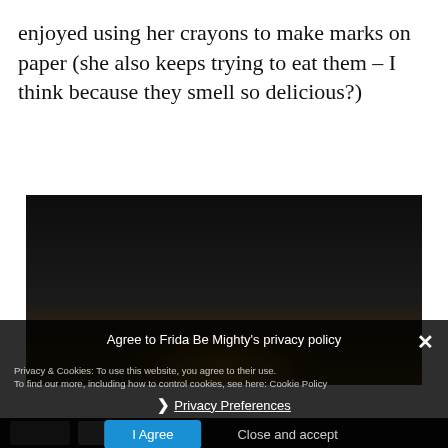enjoyed using her crayons to make marks on paper (she also keeps trying to eat them – I think because they smell so delicious?)
[Figure (photo): Dark photo of a child with blonde hair barely visible at bottom, mostly dark background]
Privacy & Cookies: To use this website, you agree to their use. To find our more, including how to control cookies, see here: Cookie Policy
Agree to Frida Be Mighty's privacy policy
❯ Privacy Preferences
I Agree   Close and accept